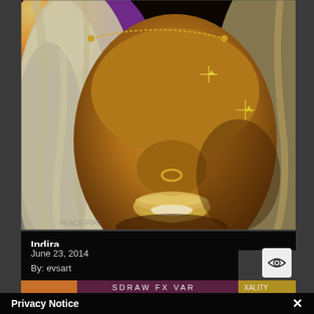[Figure (illustration): Digital artwork close-up of a dark-skinned fantasy character with golden/metallic skin tones, blonde/silver hair, nose ring, face gems/sparkles, wearing glasses chain. Warm golden and amber tones with dramatic lighting.]
Indira
June 23, 2014
By: evsart
[Figure (illustration): Partially visible bottom strip showing another artwork with warm orange and purple tones, text partially visible.]
Privacy Notice
This site uses cookies to deliver the best experience. Our own cookies make user accounts and other features possible. Third-party cookies are used to display relevant ads and to analyze how Renderosity is used. By using our site, you acknowledge that you have read and understood our Terms of Service, including our Cookie Policy and our Privacy Policy.